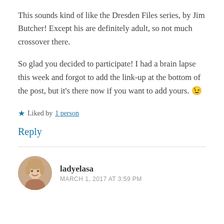This sounds kind of like the Dresden Files series, by Jim Butcher! Except his are definitely adult, so not much crossover there.
So glad you decided to participate! I had a brain lapse this week and forgot to add the link-up at the bottom of the post, but it’s there now if you want to add yours. 😉
★ Liked by 1 person
Reply
ladyelasa
MARCH 1, 2017 AT 3:59 PM